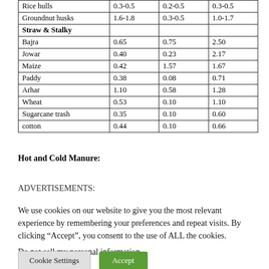|  |  |  |  |
| --- | --- | --- | --- |
| Rice hulls | 0.3-0.5 | 0.2-0.5 | 0.3-0.5 |
| Groundnut husks | 1.6-1.8 | 0.3-0.5 | 1.0-1.7 |
| Straw & Stalky |  |  |  |
| Bajra | 0.65 | 0.75 | 2.50 |
| Jowar | 0.40 | 0.23 | 2.17 |
| Maize | 0.42 | 1.57 | 1.67 |
| Paddy | 0.38 | 0.08 | 0.71 |
| Arhar | 1.10 | 0.58 | 1.28 |
| Wheat | 0.53 | 0.10 | 1.10 |
| Sugarcane trash | 0.35 | 0.10 | 0.60 |
| cotton | 0.44 | 0.10 | 0.66 |
Hot and Cold Manure:
ADVERTISEMENTS:
We use cookies on our website to give you the most relevant experience by remembering your preferences and repeat visits. By clicking “Accept”, you consent to the use of ALL the cookies. Do not sell my personal information.
Cookie Settings  Accept